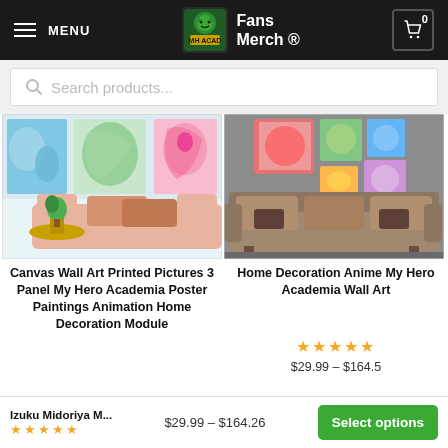MENU | MHA Fans Merch | 0
Search products...
[Figure (photo): Canvas wall art with My Hero Academia characters displayed above a pink sofa with pillows and a side table with a plant]
[Figure (photo): Home decoration wall art panels with colorful anime artwork displayed above a beige sofa]
Canvas Wall Art Printed Pictures 3 Panel My Hero Academia Poster Paintings Animation Home Decoration Module Izuku Midoriya M...
Home Decoration Anime My Hero Academia Wall Art
★★★★★
$29.99 – $164.50
Izuku Midoriya M...  $29.99 – $164.26  Select options